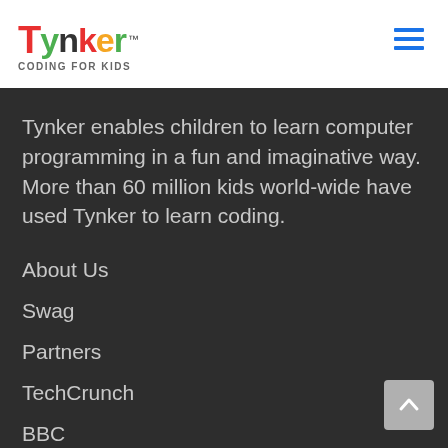[Figure (logo): Tynker logo with colorful letters and TM mark, subtitle CODING FOR KIDS]
[Figure (other): Hamburger menu icon (three horizontal lines) in blue]
Tynker enables children to learn computer programming in a fun and imaginative way. More than 60 million kids world-wide have used Tynker to learn coding.
About Us
Swag
Partners
TechCrunch
BBC